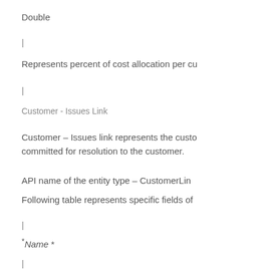Double
|
Represents percent of cost allocation per cu
|
Customer - Issues Link
Customer – Issues link represents the custo committed for resolution to the customer.
API name of the entity type – CustomerLin
Following table represents specific fields of
|
*Name *
|
Type